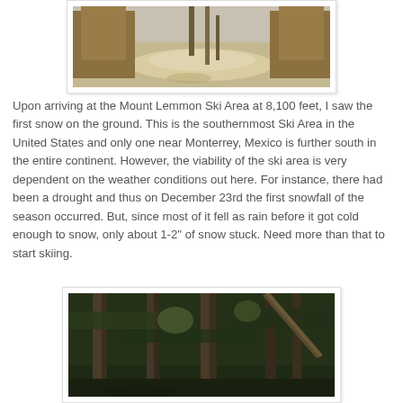[Figure (photo): Outdoor scene at Mount Lemmon Ski Area showing dry ground with sparse snow, dry grasses and trees in background]
Upon arriving at the Mount Lemmon Ski Area at 8,100 feet, I saw the first snow on the ground. This is the southernmost Ski Area in the United States and only one near Monterrey, Mexico is further south in the entire continent. However, the viability of the ski area is very dependent on the weather conditions out here. For instance, there had been a drought and thus on December 23rd the first snowfall of the season occurred. But, since most of it fell as rain before it got cold enough to snow, only about 1-2" of snow stuck. Need more than that to start skiing.
[Figure (photo): Forest scene at Mount Lemmon showing tall pine/fir trees with a fallen or leaning tree, dense forest understory]